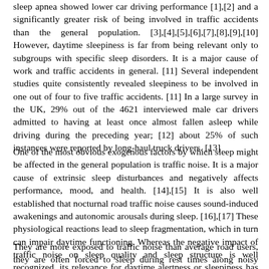sleep apnea showed lower car driving performance [1],[2] and a significantly greater risk of being involved in traffic accidents than the general population. [3],[4],[5],[6],[7],[8],[9],[10] However, daytime sleepiness is far from being relevant only to subgroups with specific sleep disorders. It is a major cause of work and traffic accidents in general. [11] Several independent studies quite consistently revealed sleepiness to be involved in one out of four to five traffic accidents. [11] In a large survey in the UK, 29% out of the 4621 interviewed male car drivers admitted to having at least once almost fallen asleep while driving during the preceding year; [12] about 25% of such instances were reported by long-haul truck drivers. [13]
One of the most obvious exogenous factors by which sleep might be affected in the general population is traffic noise. It is a major cause of extrinsic sleep disturbances and negatively affects performance, mood, and health. [14],[15] It is also well established that nocturnal road traffic noise causes sound-induced awakenings and autonomic arousals during sleep. [16],[17] These physiological reactions lead to sleep fragmentation, which in turn can impair daytime functioning. Whereas the negative impact of traffic noise on sleep quality and sleep structure is well recognized, its relevance for daytime alertness or sleepiness has hardly been investigated yet. [18] It may be of particular interest in long-haul truck drivers because:
They are more exposed to traffic noise than average road users, they are often forced to sleep during rest times along noisy motorways, and prevalence of daytime sleepiness, poor sleep quality, and sleeping disorders is known to be higher in truck drivers compared to the general